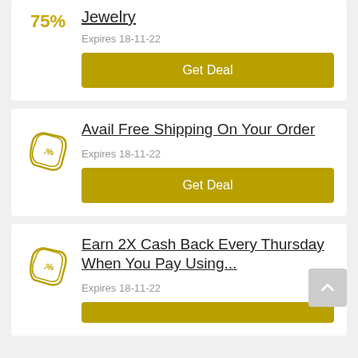Jewelry
75%
Expires 18-11-22
Get Deal
Avail Free Shipping On Your Order
Expires 18-11-22
Get Deal
Earn 2X Cash Back Every Thursday When You Pay Using...
Expires 18-11-22
Get Deal